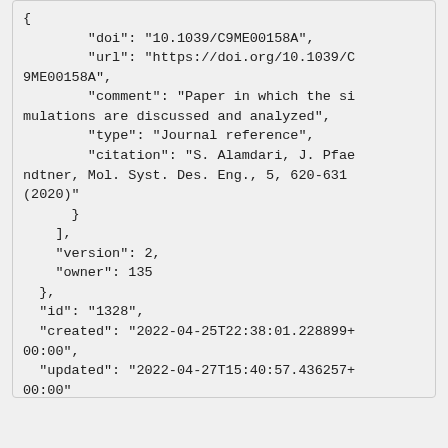{
            "doi": "10.1039/C9ME00158A",
            "url": "https://doi.org/10.1039/C9ME00158A",
            "comment": "Paper in which the simulations are discussed and analyzed",
            "type": "Journal reference",
            "citation": "S. Alamdari, J. Pfaendtner, Mol. Syst. Des. Eng., 5, 620-631 (2020)"
        }
    ],
    "version": 2,
    "owner": 135
  },
  "id": "1328",
  "created": "2022-04-25T22:38:01.228899+00:00",
  "updated": "2022-04-27T15:40:57.436257+00:00"
}